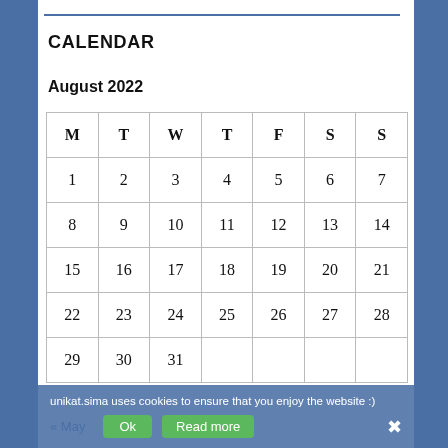CALENDAR
August 2022
| M | T | W | T | F | S | S |
| --- | --- | --- | --- | --- | --- | --- |
| 1 | 2 | 3 | 4 | 5 | 6 | 7 |
| 8 | 9 | 10 | 11 | 12 | 13 | 14 |
| 15 | 16 | 17 | 18 | 19 | 20 | 21 |
| 22 | 23 | 24 | 25 | 26 | 27 | 28 |
| 29 | 30 | 31 |  |  |  |  |
unikat.sima uses cookies to ensure that you enjoy the website :)
Ok   Read more   ×
« May